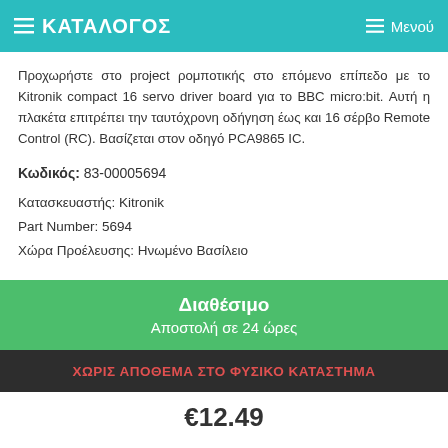≡ ΚΑΤΑΛΟΓΟΣ   ≡ Μενού
Προχωρήστε στο project ρομποτικής στο επόμενο επίπεδο με το Kitronik compact 16 servo driver board για το BBC micro:bit. Αυτή η πλακέτα επιτρέπει την ταυτόχρονη οδήγηση έως και 16 σέρβο Remote Control (RC). Βασίζεται στον οδηγό PCA9865 IC.
Κωδικός: 83-00005694
Κατασκευαστής: Kitronik
Part Number: 5694
Χώρα Προέλευσης: Ηνωμένο Βασίλειο
Διαθέσιμο
Αποστολή σε 24 ώρες
ΧΩΡΙΣ ΑΠΟΘΕΜΑ ΣΤΟ ΦΥΣΙΚΟ ΚΑΤΑΣΤΗΜΑ
€12.49